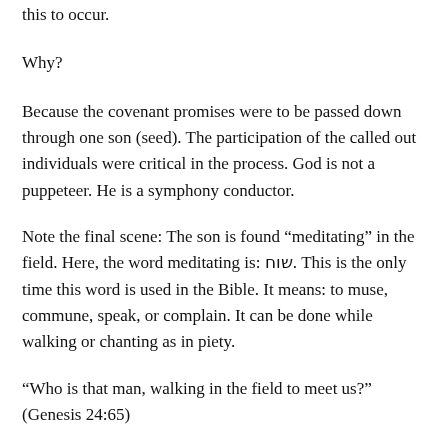this to occur.
Why?
Because the covenant promises were to be passed down through one son (seed). The participation of the called out individuals were critical in the process. God is not a puppeteer. He is a symphony conductor.
Note the final scene: The son is found “meditating” in the field. Here, the word meditating is: שוח. This is the only time this word is used in the Bible. It means: to muse, commune, speak, or complain. It can be done while walking or chanting as in piety.
“Who is that man, walking in the field to meet us?” (Genesis 24:65)
Rebekah is asking as if she never saw such a man before. So,